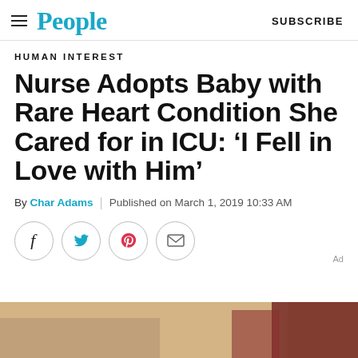People | SUBSCRIBE
HUMAN INTEREST
Nurse Adopts Baby with Rare Heart Condition She Cared for in ICU: ‘I Fell in Love with Him’
By Char Adams | Published on March 1, 2019 10:33 AM
[Figure (other): Social sharing icons: Facebook, Twitter, Pinterest, Email in circular outlines]
[Figure (photo): Partial photo of a person, warm toned indoor setting]